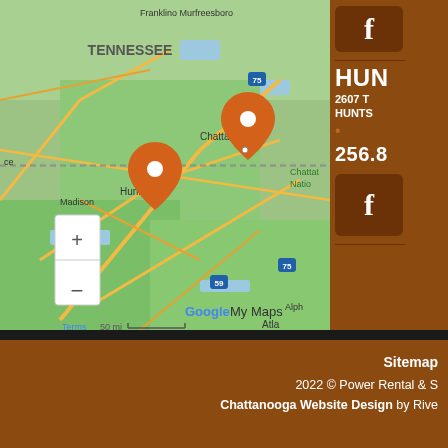[Figure (map): Google My Maps showing southeastern USA with orange location pins at Huntsville, AL and Chattanooga, TN. Map shows Tennessee, parts of Alabama and Georgia with road networks, with zoom controls (+/-) and scale bar showing 50 mi.]
HUN
2607 T
HUNTS
256.8
Sitemap
2022 © Power Rental & S
Chattanooga Website Design by Rive